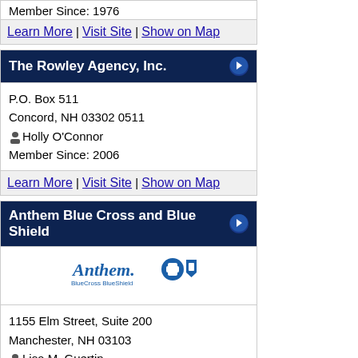Member Since: 1976
Learn More | Visit Site | Show on Map
The Rowley Agency, Inc.
P.O. Box 511
Concord, NH 03302 0511
Holly O'Connor
Member Since: 2006
Learn More | Visit Site | Show on Map
Anthem Blue Cross and Blue Shield
[Figure (logo): Anthem BlueCross BlueShield logo]
1155 Elm Street, Suite 200
Manchester, NH 03103
Lisa M. Guertin
Member Since: 1976
Learn More | Visit Site | Show on Map
CGI Business Solutions
5 Dartmouth Drive
Auburn , NH 03032-3984
Daniel Cronin
Member Since: 2010